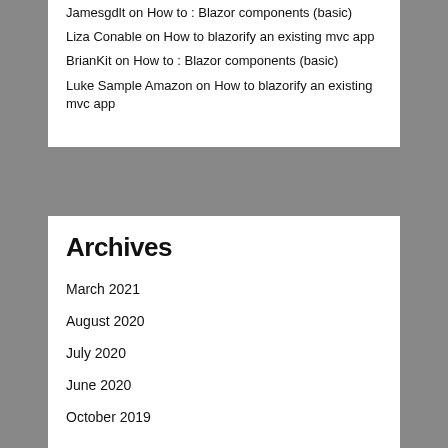Jamesgdlt on How to : Blazor components (basic)
Liza Conable on How to blazorify an existing mvc app
BrianKit on How to : Blazor components (basic)
Luke Sample Amazon on How to blazorify an existing mvc app
Archives
March 2021
August 2020
July 2020
June 2020
October 2019